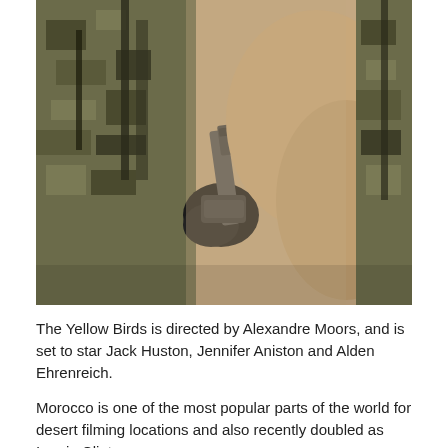[Figure (photo): Close-up photo of a soldier in camouflage gear holding a weapon with a black gloved hand, with another person in military uniform partially visible on the right side. The background shows a blurred brownish tone.]
The Yellow Birds is directed by Alexandre Moors, and is set to star Jack Huston, Jennifer Aniston and Alden Ehrenreich.
Morocco is one of the most popular parts of the world for desert filming locations and also recently doubled as Iraq in Clint